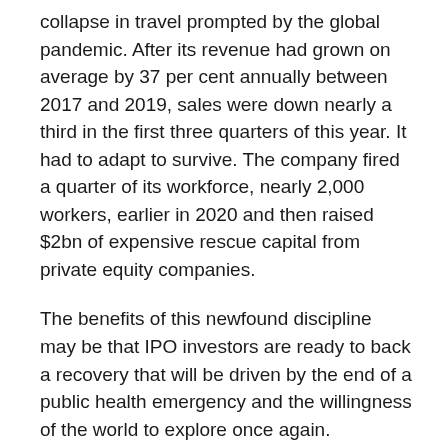collapse in travel prompted by the global pandemic. After its revenue had grown on average by 37 per cent annually between 2017 and 2019, sales were down nearly a third in the first three quarters of this year. It had to adapt to survive. The company fired a quarter of its workforce, nearly 2,000 workers, earlier in 2020 and then raised $2bn of expensive rescue capital from private equity companies.
The benefits of this newfound discipline may be that IPO investors are ready to back a recovery that will be driven by the end of a public health emergency and the willingness of the world to explore once again.